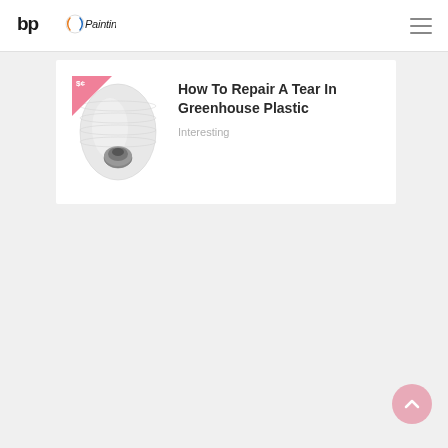bp Painting
[Figure (logo): bp Painting logo with stylized text and circular icon with blue and orange swoosh]
[Figure (illustration): Roll of white greenhouse plastic sheeting with grey spool end, with a pink ribbon badge overlay in top-left corner]
How To Repair A Tear In Greenhouse Plastic
Interesting
[Figure (other): Back to top button — circular pink/rose button with upward chevron arrow]